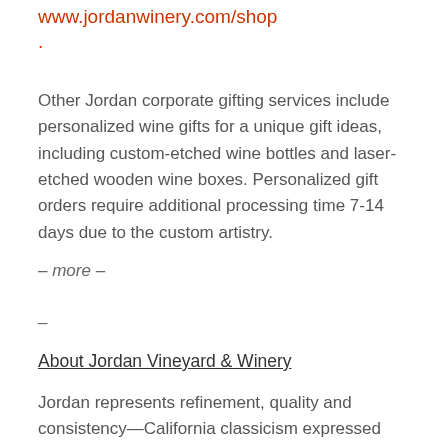www.jordanwinery.com/shop.
Other Jordan corporate gifting services include personalized wine gifts for a unique gift ideas, including custom-etched wine bottles and laser-etched wooden wine boxes. Personalized gift orders require additional processing time 7-14 days due to the custom artistry.
– more –
–
About Jordan Vineyard & Winery
Jordan represents refinement, quality and consistency—California classicism expressed with a Francophile spirit for more than forty years. Today, Jordan Winery is one